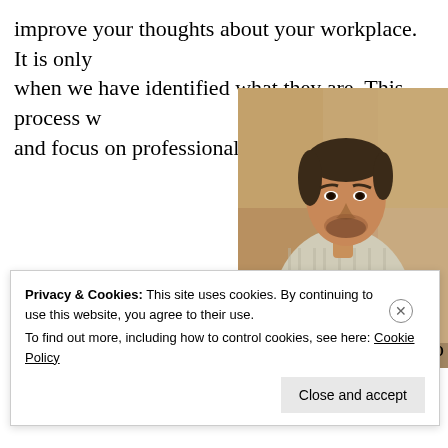improve your thoughts about your workplace. It is only when we have identified what they are. This process w… and focus on professional targets.
[Figure (photo): A young man with dark hair and a beard, wearing an open linen shirt, holding glasses up to his mouth thoughtfully, seated at a table. Film still or photograph with warm tones.]
to
Privacy & Cookies: This site uses cookies. By continuing to use this website, you agree to their use.
To find out more, including how to control cookies, see here: Cookie Policy
Close and accept